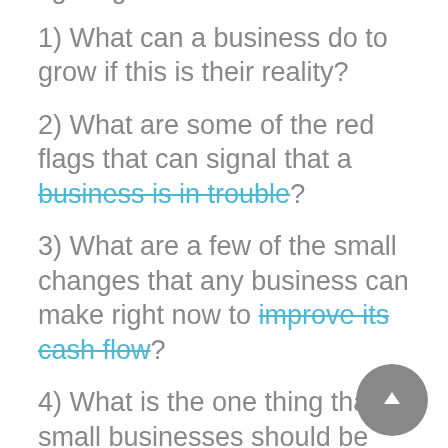tight right now ...
1) What can a business do to grow if this is their reality?
2) What are some of the red flags that can signal that a business is in trouble?
3) What are a few of the small changes that any business can make right now to improve its cash flow?
4) What is the one thing that small businesses should be